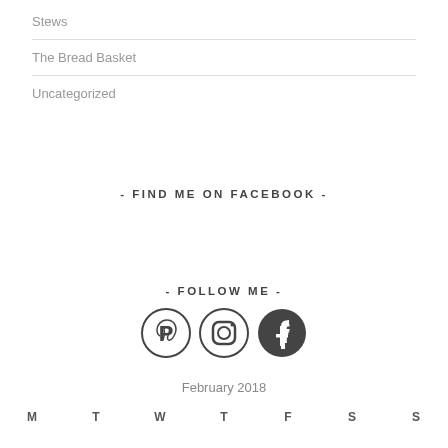Stews
The Bread Basket
Uncategorized
- FIND ME ON FACEBOOK -
- FOLLOW ME -
[Figure (infographic): Social media icons: Pinterest, Instagram, Facebook]
February 2018
| M | T | W | T | F | S | S |
| --- | --- | --- | --- | --- | --- | --- |